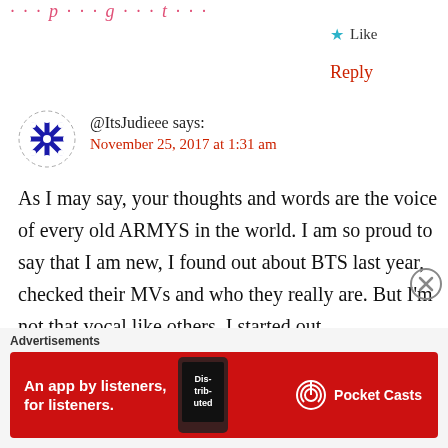…p…g…t…
Like
Reply
@ItsJudieee says:
November 25, 2017 at 1:31 am
As I may say, your thoughts and words are the voice of every old ARMYS in the world. I am so proud to say that I am new, I found out about BTS last year, checked their MVs and who they really are. But I'm not that vocal like others, I started out
Advertisements
[Figure (screenshot): Pocket Casts advertisement banner: red background with 'An app by listeners, for listeners.' text and Pocket Casts logo on the right, phone image in middle]